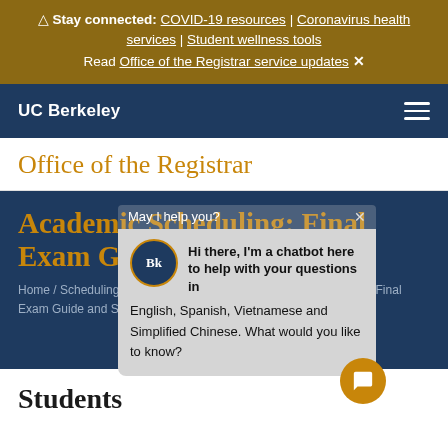△ Stay connected: COVID-19 resources | Coronavirus health services | Student wellness tools
Read Office of the Registrar service updates ✕
UC Berkeley ☰
Office of the Registrar
Academic Scheduling: Final Exam Guide and Schedules
Home / Scheduling / Academic Scheduling / Academic Scheduling: Final Exam Guide and Schedules
[Figure (screenshot): Chatbot popup with UC Berkeley 'Bk' avatar. Title bar says 'May I help you?' with X close button. Message: 'Hi there, I'm a chatbot here to help with your questions in English, Spanish, Vietnamese and Simplified Chinese. What would you like to know?' with a gold circular chat button at bottom right.]
Students